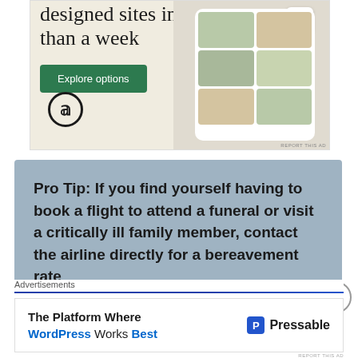[Figure (screenshot): WordPress website builder advertisement showing 'designed sites in less than a week' headline with Explore options button and phone mockups displaying food website]
Pro Tip: If you find yourself having to book a flight to attend a funeral or visit a critically ill family member, contact the airline directly for a bereavement rate
Advertisements
[Figure (screenshot): Pressable advertisement: The Platform Where WordPress Works Best with Pressable logo]